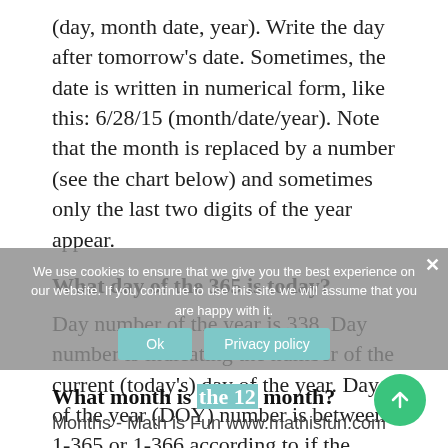(day, month date, year). Write the day after tomorrow's date. Sometimes, the date is written in numerical form, like this: 6/28/15 (month/date/year). Note that the month is replaced by a number (see the chart below) and sometimes only the last two digits of the year appear.
What day of the 365 is today?
Day number of the year is 338. Day number is indicating the number of the current (today's) day of the year. Day of the year (DOY) number is between 1-365 or 1-366 according to if the current year is a leap year or not. This year 2020 is a leap year and there are 366 days.
What month is the 12 month?
Months - Math is Fun www.mathisfun.com